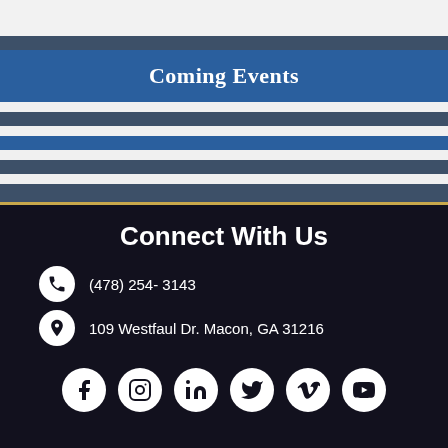Coming Events
Connect With Us
(478) 254- 3143
109 Westfaul Dr. Macon, GA 31216
[Figure (illustration): Social media icons row: Facebook, Instagram, LinkedIn, Twitter, Vimeo, YouTube]